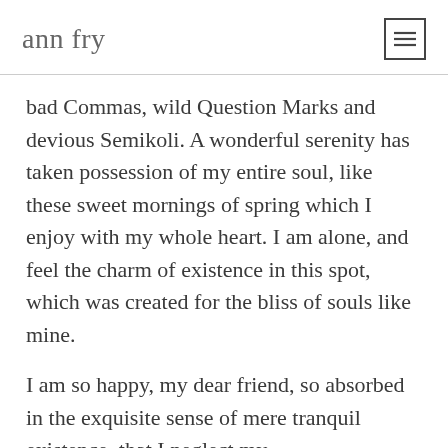ann fry
bad Commas, wild Question Marks and devious Semikoli. A wonderful serenity has taken possession of my entire soul, like these sweet mornings of spring which I enjoy with my whole heart. I am alone, and feel the charm of existence in this spot, which was created for the bliss of souls like mine.
I am so happy, my dear friend, so absorbed in the exquisite sense of mere tranquil existence, that I neglect my